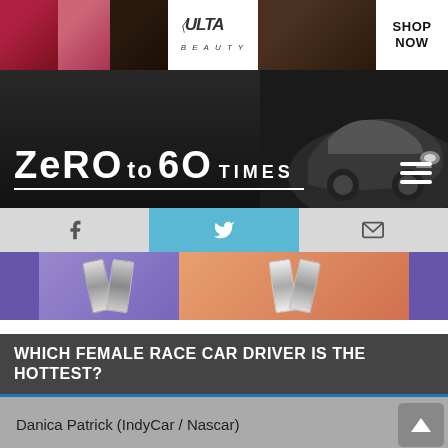[Figure (photo): Ulta Beauty advertisement banner with makeup photos and shop now button]
[Figure (photo): Zero to 60 Times website header with logo, dark background, and car silhouette on the right]
[Figure (screenshot): Social media navigation bar with Facebook, Twitter, and email icons]
[Figure (photo): Advertisement banner with cosmetic tube products on purple and orange background]
WHICH FEMALE RACE CAR DRIVER IS THE HOTTEST?
Danica Patrick (IndyCar / Nascar)
Ashley Force Hood (Funny Car)
[Figure (photo): Macy's lipstick advertisement overlay with KISS BORING LIPS GOODBYE text and SHOP NOW button]